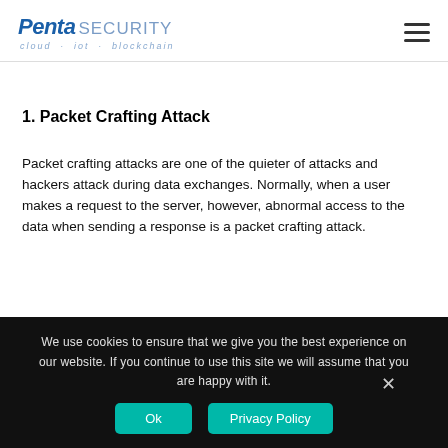Penta SECURITY cloud · iot · blockchain
1. Packet Crafting Attack
Packet crafting attacks are one of the quieter of attacks and hackers attack during data exchanges. Normally, when a user makes a request to the server, however, abnormal access to the data when sending a response is a packet crafting attack.
We use cookies to ensure that we give you the best experience on our website. If you continue to use this site we will assume that you are happy with it.
Ok  Privacy Policy